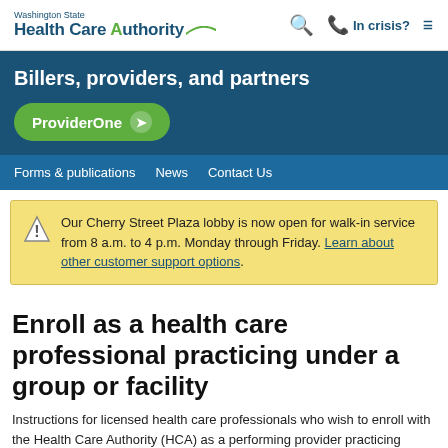Washington State Health Care Authority
Billers, providers, and partners
ProviderOne
Forms & publications   News   Contact Us
Our Cherry Street Plaza lobby is now open for walk-in service from 8 a.m. to 4 p.m. Monday through Friday. Learn about other customer support options.
Enroll as a health care professional practicing under a group or facility
Instructions for licensed health care professionals who wish to enroll with the Health Care Authority (HCA) as a performing provider practicing under a group or facility.